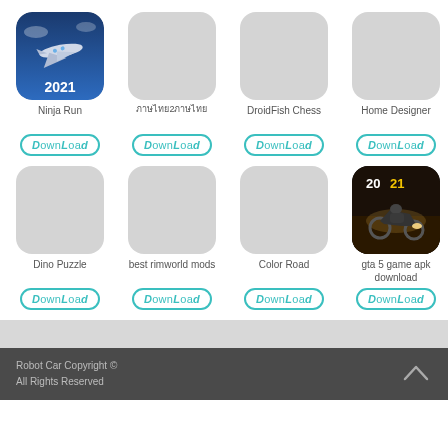[Figure (screenshot): App grid showing 8 app icons in 2 rows of 4. Row 1: Ninja Run (airplane game icon with 2021), unnamed app (gray icon), DroidFish Chess (gray icon), Home Designer (gray icon). Row 2: Dino Puzzle (gray icon), best rimworld mods (gray icon), Color Road (gray icon), gta 5 game apk download (motorcycle game icon with 2021). Each app has a teal Download button below.]
Robot Car Copyright © All Rights Reserved